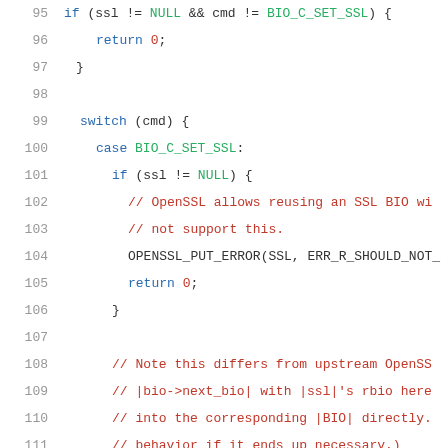Code snippet showing C source code lines 95-116 with syntax highlighting
95: if (ssl != NULL && cmd != BIO_C_SET_SSL) {
96:     return 0;
97: }
98: (blank)
99:     switch (cmd) {
100:         case BIO_C_SET_SSL:
101:             if (ssl != NULL) {
102:                 // OpenSSL allows reusing an SSL BIO wi
103:                 // not support this.
104:                 OPENSSL_PUT_ERROR(SSL, ERR_R_SHOULD_NOT_
105:                 return 0;
106:             }
107: (blank)
108:             // Note this differs from upstream OpenSS
109:             // |bio->next_bio| with |ssl|'s rbio here
110:             // into the corresponding |BIO| directly.
111:             // behavior if it ends up necessary.)
112:             bio->shutdown = num;
113:             bio->ptr = ptr;
114:             bio->init = 1;
115:             return 1;
116: (blank)